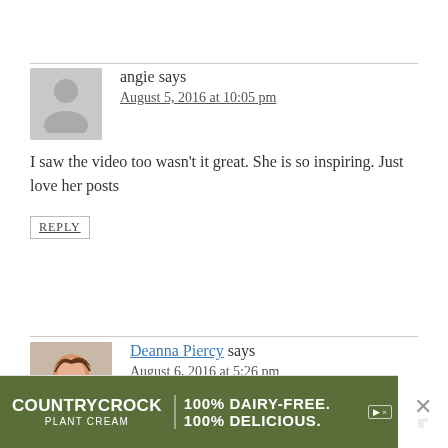angie says
August 5, 2016 at 10:05 pm
I saw the video too wasn't it great. She is so inspiring. Just love her posts
REPLY
Deanna Piercy says
August 6, 2016 at 5:26 pm
Me, too. 🙂
REPLY
[Figure (photo): Gray placeholder avatar silhouette for commenter Angie]
[Figure (photo): Profile photo of Deanna Piercy, a woman with brown hair smiling]
[Figure (infographic): Country Crock Plant Cream advertisement banner: '100% DAIRY-FREE. 100% DELICIOUS.']